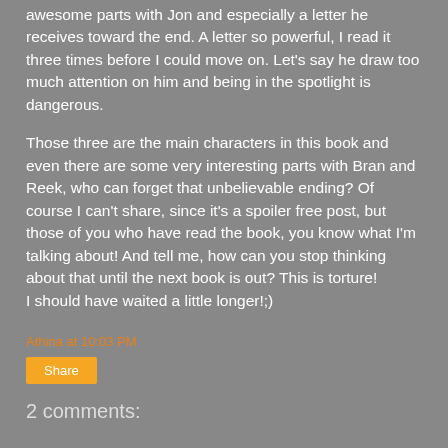awesome parts with Jon and especially a letter he receives toward the end. A letter so powerful, I read it three times before I could move on. Let's say he draw too much attention on him and being in the spotlight is dangerous.
Those three are the main characters in this book and even there are some very interesting parts with Bran and Reek, who can forget that unbelievable ending? Of course I can't share, since it's a spoiler free post, but those of you who have read the book, you know what I'm talking about! And tell me, how can you stop thinking about that until the next book is out? This is torture!
I should have waited a little longer!;)
Athina at 10:03 PM
Share
2 comments: